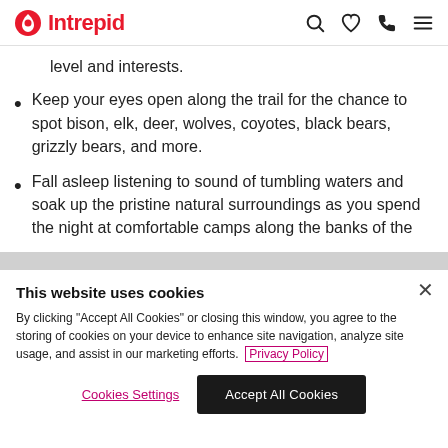Intrepid [navigation bar with search, heart, phone, menu icons]
level and interests.
Keep your eyes open along the trail for the chance to spot bison, elk, deer, wolves, coyotes, black bears, grizzly bears, and more.
Fall asleep listening to sound of tumbling waters and soak up the pristine natural surroundings as you spend the night at comfortable camps along the banks of the
This website uses cookies
By clicking "Accept All Cookies" or closing this window, you agree to the storing of cookies on your device to enhance site navigation, analyze site usage, and assist in our marketing efforts. Privacy Policy
Cookies Settings
Accept All Cookies